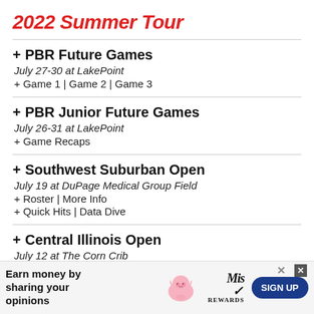2022 Summer Tour
+ PBR Future Games
July 27-30 at LakePoint
+ Game 1 | Game 2 | Game 3
+ PBR Junior Future Games
July 26-31 at LakePoint
+ Game Recaps
+ Southwest Suburban Open
July 19 at DuPage Medical Group Field
+ Roster | More Info
+ Quick Hits | Data Dive
+ Central Illinois Open
July 12 at The Corn Crib
+ Roster | More Info
+ Quick Hits | Data Dive
+ Northwest Suburban Open
July 5...
+ Ros...
+ Sta...
+ TrackMan Files | Blast Board
[Figure (other): Advertisement banner: Earn money by sharing your opinions - Miss Rewards SIGN UP]